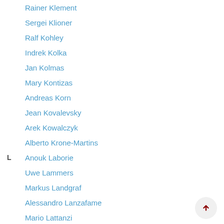Rainer Klement
Sergei Klioner
Ralf Kohley
Indrek Kolka
Jan Kolmas
Mary Kontizas
Andreas Korn
Jean Kovalevsky
Arek Kowalczyk
Alberto Krone-Martins
L — Anouk Laborie
Uwe Lammers
Markus Landgraf
Alessandro Lanzafame
Mario Lattanzi
Bernard Laviron
Christian Lebranchu
Nicolas Leclerc
Isabelle Lecoeur-Taibi
Floor van Leeuwen
Marc Le Roy
Thierry Levoir
Lennart Lindegren
Hans Lindstrøm
Chao Liu
Evdokia Livanou